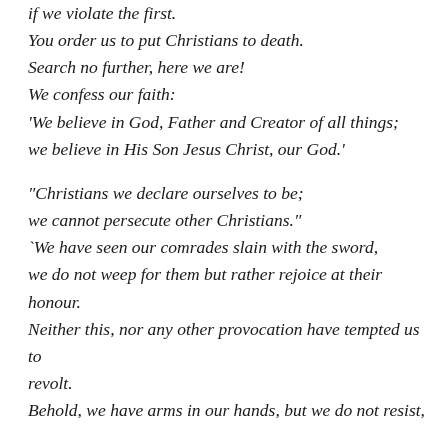if we violate the first.
You order us to put Christians to death.
Search no further, here we are!
We confess our faith:
'We believe in God, Father and Creator of all things; we believe in His Son Jesus Christ, our God.'
“Christians we declare ourselves to be; we cannot persecute other Christians.”
`We have seen our comrades slain with the sword, we do not weep for them but rather rejoice at their honour.
Neither this, nor any other provocation have tempted us to revolt.
Behold, we have arms in our hands, but we do not resist,